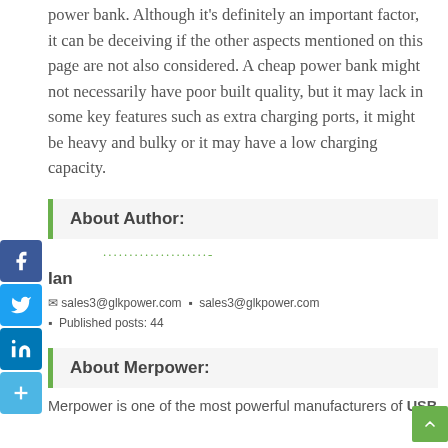power bank. Although it's definitely an important factor, it can be deceiving if the other aspects mentioned on this page are not also considered. A cheap power bank might not necessarily have poor built quality, but it may lack in some key features such as extra charging ports, it might be heavy and bulky or it may have a low charging capacity.
About Author:
[Figure (other): Dotted green line representing author avatar placeholder]
Ian
✉ sales3@glkpower.com  ▪  sales3@glkpower.com
▪  Published posts: 44
About Merpower:
Merpower is one of the most powerful manufacturers of USB